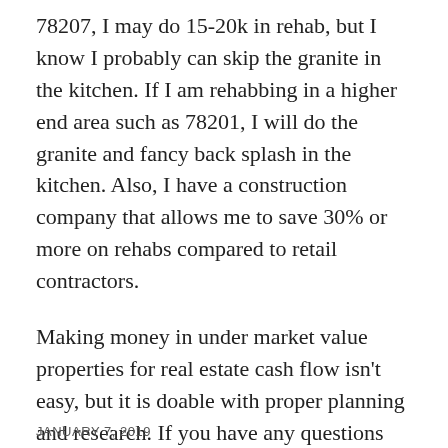78207, I may do 15-20k in rehab, but I know I probably can skip the granite in the kitchen. If I am rehabbing in a higher end area such as 78201, I will do the granite and fancy back splash in the kitchen. Also, I have a construction company that allows me to save 30% or more on rehabs compared to retail contractors.
Making money in under market value properties for real estate cash flow isn't easy, but it is doable with proper planning and research. If you have any questions about investing in the best San Antonio investment property, please contact us.
When you are considering below market value property or out of state investment property, please try to avoid the above mistakes!
JANUARY 7, 2019